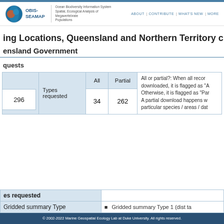OBIS-SEAMAP | Ocean Biodiversity Information System Spatial, Ecological Analysis of Megavertebrate Populations | ABOUT | CONTRIBUTE | WHAT'S NEW | MORE
ing Locations, Queensland and Northern Territory c
ensland Government
quests
| quests | Types requested | All | Partial | All or partial? note |
| --- | --- | --- | --- | --- |
| 296 |  | 34 | 262 | All or partial?: When all recor... downloaded, it is flagged as "A... Otherwise, it is flagged as "Par... A partial download happens w... particular species / areas / dat... |
| es requested |  |
| --- | --- |
| Gridded summary Type | Gridded summary Type 1 (dist ta |
© 2002-2022 Marine Geospatial Ecology Lab at Duke University. All rights reserved.